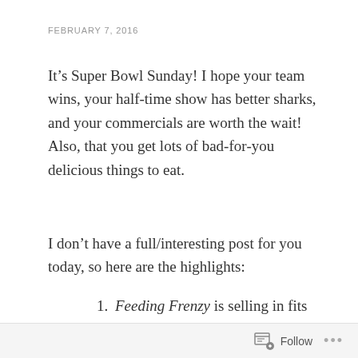FEBRUARY 7, 2016
It’s Super Bowl Sunday! I hope your team wins, your half-time show has better sharks, and your commercials are worth the wait! Also, that you get lots of bad-for-you delicious things to eat.
I don’t have a full/interesting post for you today, so here are the highlights:
Feeding Frenzy is selling in fits and starts! It’s out now in both paperback and e-book. Bloody sorry for how pricey the